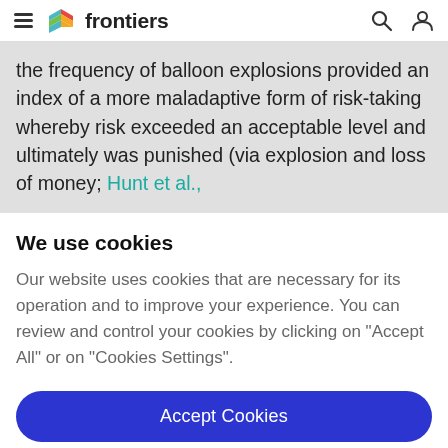frontiers
the frequency of balloon explosions provided an index of a more maladaptive form of risk-taking whereby risk exceeded an acceptable level and ultimately was punished (via explosion and loss of money; Hunt et al.,
We use cookies
Our website uses cookies that are necessary for its operation and to improve your experience. You can review and control your cookies by clicking on "Accept All" or on "Cookies Settings".
Accept Cookies
Cookies Settings